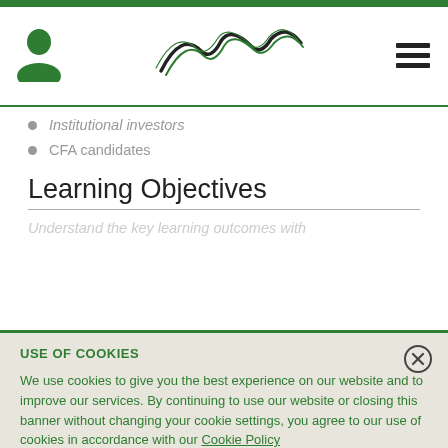[Header with person icon, CFA Institute logo, and menu icon]
Institutional investors
CFA candidates
Learning Objectives
[Partially visible text below Learning Objectives heading]
USE OF COOKIES

We use cookies to give you the best experience on our website and to improve our services. By continuing to use our website or closing this banner without changing your cookie settings, you agree to our use of cookies in accordance with our Cookie Policy

We have also updated our Privacy Policy to reflect changes in data protection law.